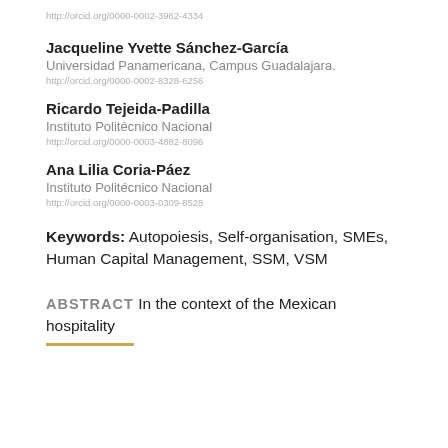http://orcid.org/0000-0002-3962-4334
Jacqueline Yvette Sánchez-García
Universidad Panamericana, Campus Guadalajara.
http://orcid.org/0000-0002-8328-6256
Ricardo Tejeida-Padilla
Instituto Politécnico Nacional
http://orcid.org/0000-0003-4882-8096
Ana Lilia Coria-Páez
Instituto Politécnico Nacional
http://orcid.org/0000-0003-0309-8528
Keywords: Autopoiesis, Self-organisation, SMEs, Human Capital Management, SSM, VSM
ABSTRACT
In the context of the Mexican hospitality